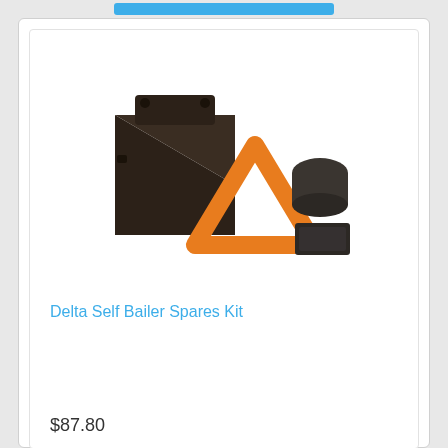[Figure (photo): Product photo showing Delta Self Bailer Spares Kit components: a dark brown/black triangular bailer body, an orange rubber gasket/seal in a triangular shape, a dark cylindrical plug, and a small dark rectangular piece, all arranged on a white background.]
Delta Self Bailer Spares Kit
$87.80